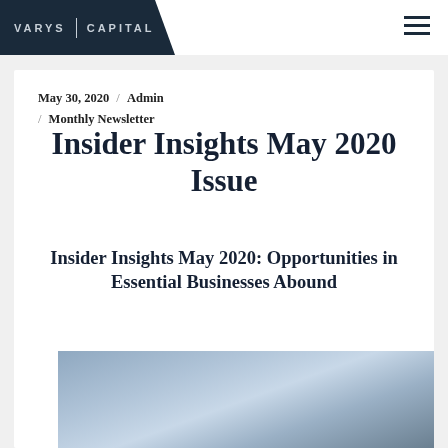VARYS | CAPITAL
May 30, 2020 / Admin / Monthly Newsletter
Insider Insights May 2020 Issue
Insider Insights May 2020: Opportunities in Essential Businesses Abound
[Figure (photo): Person in business attire holding a pen, with a tablet or device visible in the background]